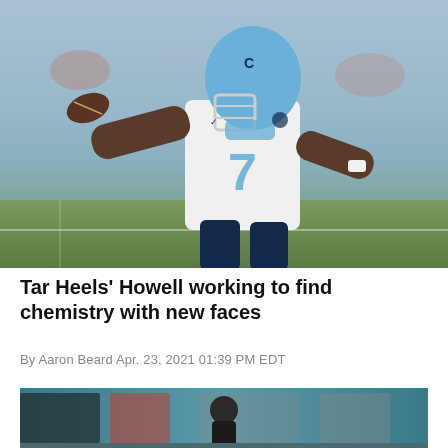[Figure (photo): UNC Tar Heels quarterback #7 in white uniform throwing a football, wearing light blue helmet, on a football field. Action shot, arm extended in throwing motion.]
Tar Heels' Howell working to find chemistry with new faces
By Aaron Beard Apr. 23, 2021 01:39 PM EDT
[Figure (photo): A person in dark clothing standing inside what appears to be an indoor sports facility or hallway with teal/blue walls and windows visible in the background.]